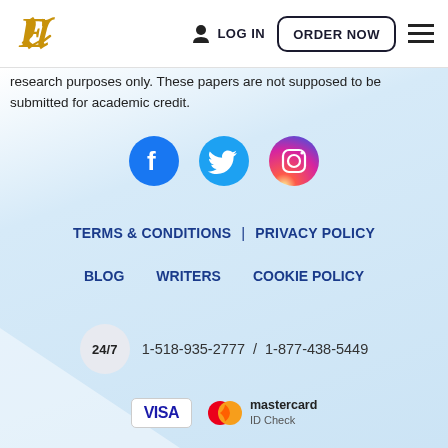[Figure (logo): Stylized 'E' script logo in gold/amber color for an essay writing service]
LOG IN   ORDER NOW
research purposes only. These papers are not supposed to be submitted for academic credit.
[Figure (infographic): Social media icons: Facebook (blue circle with f), Twitter (blue circle with bird), Instagram (gradient circle with camera)]
TERMS & CONDITIONS | PRIVACY POLICY
BLOG   WRITERS   COOKIE POLICY
24/7  1-518-935-2777 / 1-877-438-5449
[Figure (infographic): Payment method logos: VISA card, Mastercard ID Check, Mastercard, Discover, American Express, Visa (small), SOFORT]